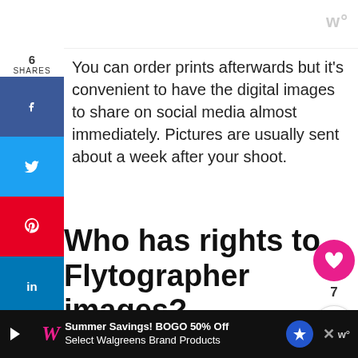w°
You can order prints afterwards but it's convenient to have the digital images to share on social media almost immediately. Pictures are usually sent about a week after your shoot.
Who has rights to the Flytographer images?
[Figure (photo): Street scene with buildings and sky, drone visible]
WHAT'S NEXT → Dollar Flight Club Review...
Summer Savings! BOGO 50% Off Select Walgreens Brand Products